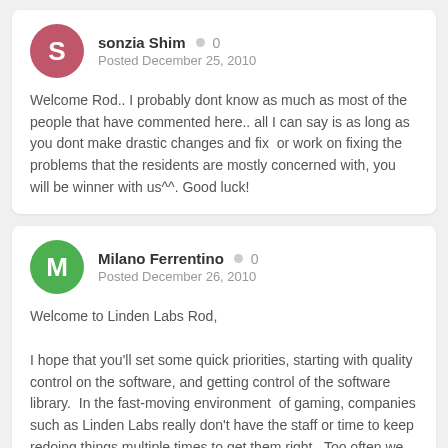sonzia Shim · 0
Posted December 25, 2010
Welcome Rod.. I probably dont know as much as most of the people that have commented here.. all I can say is as long as you dont make drastic changes and fix  or work on fixing the problems that the residents are mostly concerned with, you will be winner with us^^. Good luck!
Milano Ferrentino · 0
Posted December 26, 2010
Welcome to Linden Labs Rod,

I hope that you'll set some quick priorities, starting with quality control on the software, and getting control of the software library.  In the fast-moving environment  of gaming, companies such as Linden Labs really don't have the staff or time to keep redoing things multiple times to get them right.  Too often we see old problems re-introduced in new releases.  A well-controlled